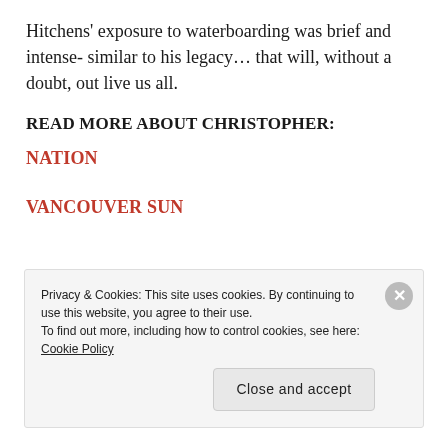Hitchens’ exposure to waterboarding was brief and intense- similar to his legacy… that will, without a doubt, out live us all.
READ MORE ABOUT CHRISTOPHER:
NATION
VANCOUVER SUN
Privacy & Cookies: This site uses cookies. By continuing to use this website, you agree to their use. To find out more, including how to control cookies, see here: Cookie Policy
Close and accept